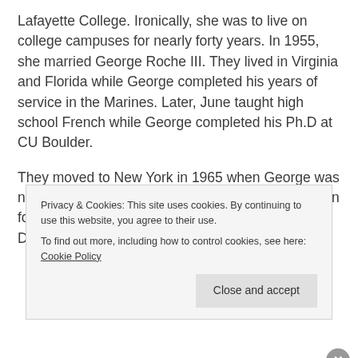Lafayette College. Ironically, she was to live on college campuses for nearly forty years. In 1955, she married George Roche III. They lived in Virginia and Florida while George completed his years of service in the Marines. Later, June taught high school French while George completed his Ph.D at CU Boulder.
They moved to New York in 1965 when George was named Director of Seminars at FEE, the Foundation for Economic Education. June taught French at Dobbs Ferry High School. In 1971, they
Privacy & Cookies: This site uses cookies. By continuing to use this website, you agree to their use.
To find out more, including how to control cookies, see here: Cookie Policy